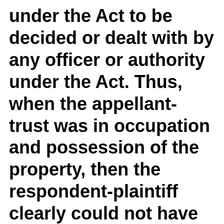under the Act to be decided or dealt with by any officer or authority under the Act. Thus, when the appellant-trust was in occupation and possession of the property, then the respondent-plaintiff clearly could not have approached the civil court ignoring the specific provision under the Bombay Public Trusts Act, 1950 which laid down the provisions to deal with disputes relating to